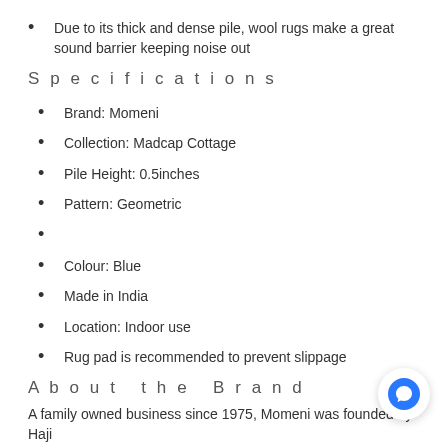Due to its thick and dense pile, wool rugs make a great sound barrier keeping noise out
Specifications
Brand: Momeni
Collection: Madcap Cottage
Pile Height: 0.5inches
Pattern: Geometric
Colour: Blue
Made in India
Location: Indoor use
Rug pad is recommended to prevent slippage
About the Brand
A family owned business since 1975, Momeni was founded by Haji